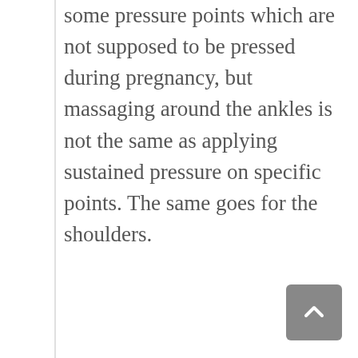some pressure points which are not supposed to be pressed during pregnancy, but massaging around the ankles is not the same as applying sustained pressure on specific points. The same goes for the shoulders.
There is no problem with massaging around the ankles and shoulders during pregnancy. Most general Thai Massage therapists wouldn't know those specific points anyway and therefore would most likely not apply deep pressure on them. Accidentally or briefly touching one of those points will have not have